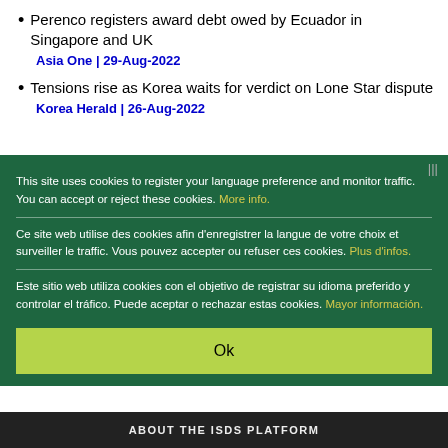Perenco registers award debt owed by Ecuador in Singapore and UK
Asia One | 29-Aug-2022
Tensions rise as Korea waits for verdict on Lone Star dispute
Korea Herald | 26-Aug-2022
This site uses cookies to register your language preference and monitor traffic. You can accept or reject these cookies. More info.

Ce site web utilise des cookies afin d'enregistrer la langue de votre choix et surveiller le traffic. Vous pouvez accepter ou refuser ces cookies. Plus d'infos.

Este sitio web utiliza cookies con el objetivo de registrar su idioma preferido y controlar el tráfico. Puede aceptar o rechazar estas cookies. Mayor información.
Ok
ABOUT THE ISDS PLATFORM